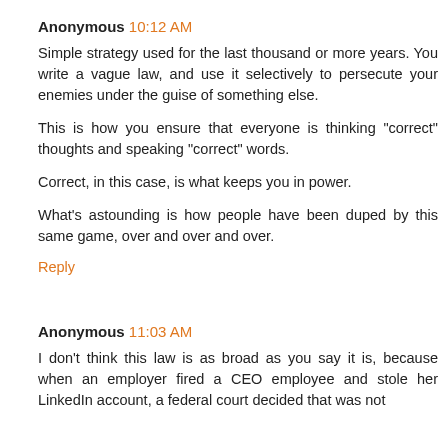Anonymous 10:12 AM
Simple strategy used for the last thousand or more years. You write a vague law, and use it selectively to persecute your enemies under the guise of something else.
This is how you ensure that everyone is thinking "correct" thoughts and speaking "correct" words.
Correct, in this case, is what keeps you in power.
What's astounding is how people have been duped by this same game, over and over and over.
Reply
Anonymous 11:03 AM
I don't think this law is as broad as you say it is, because when an employer fired a CEO employee and stole her LinkedIn account, a federal court decided that was not